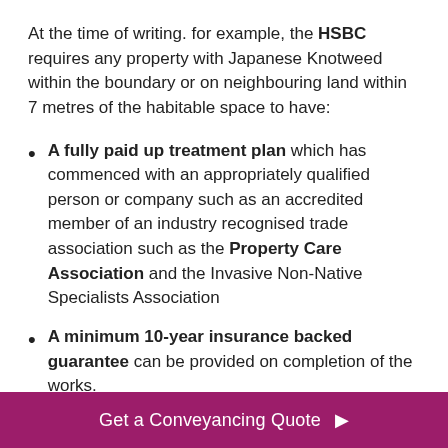At the time of writing. for example, the HSBC requires any property with Japanese Knotweed within the boundary or on neighbouring land within 7 metres of the habitable space to have:
A fully paid up treatment plan which has commenced with an appropriately qualified person or company such as an accredited member of an industry recognised trade association such as the Property Care Association and the Invasive Non-Native Specialists Association
A minimum 10-year insurance backed guarantee can be provided on completion of the works.
The...
Get a Conveyancing Quote